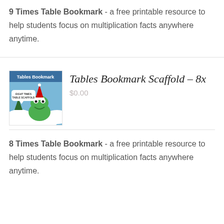9 Times Table Bookmark - a free printable resource to help students focus on multiplication facts anywhere anytime.
[Figure (illustration): Tables Bookmark thumbnail showing a cartoon frog with a Santa hat and a speech bubble saying 'EIGHT TIMES TABLE SCAFFOLD' on a blue winter background with text 'Tables Bookmark' at top]
Tables Bookmark Scaffold – 8x
$0.00
8 Times Table Bookmark - a free printable resource to help students focus on multiplication facts anywhere anytime.